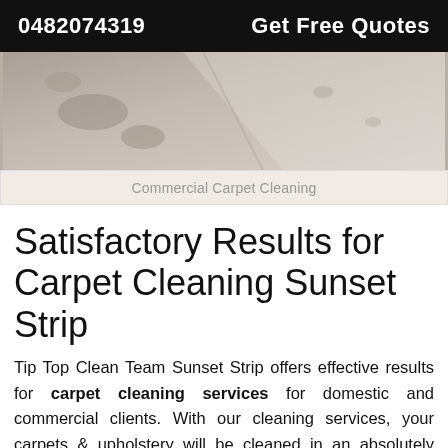0482074319   Get Free Quotes
[Figure (photo): Close-up photograph of a carpet showing before/after cleaning, with a visible diagonal line separating the dirty and clean sections. The carpet is beige/gray colored.]
Commercial Carpet Cleaning
Satisfactory Results for Carpet Cleaning Sunset Strip
Tip Top Clean Team Sunset Strip offers effective results for carpet cleaning services for domestic and commercial clients. With our cleaning services, your carpets & upholstery will be cleaned in an absolutely stunning manner. And if we don't prov unmatched quality carpet cleaning service to yo